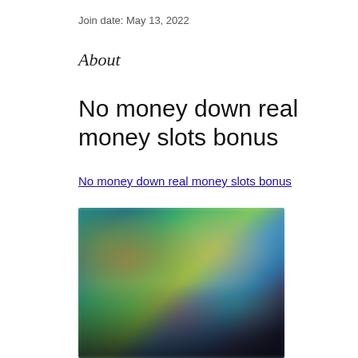Join date: May 13, 2022
About
No money down real money slots bonus
No money down real money slots bonus
[Figure (photo): Blurred screenshot of an online casino or gaming platform showing colorful animated characters and game thumbnails]